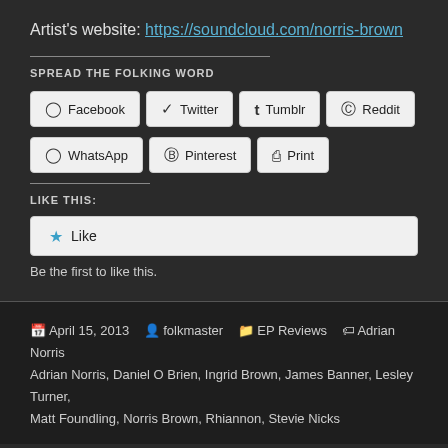Artist's website: https://soundcloud.com/norris-brown
SPREAD THE FOLKING WORD
[Figure (other): Social share buttons: Facebook, Twitter, Tumblr, Reddit, WhatsApp, Pinterest, Print]
LIKE THIS:
[Figure (other): Like button with star icon]
Be the first to like this.
April 15, 2013   folkmaster   EP Reviews   Adrian Norris, Daniel O Brien, Ingrid Brown, James Banner, Lesley Turner, Matt Foundling, Norris Brown, Rhiannon, Stevie Nicks